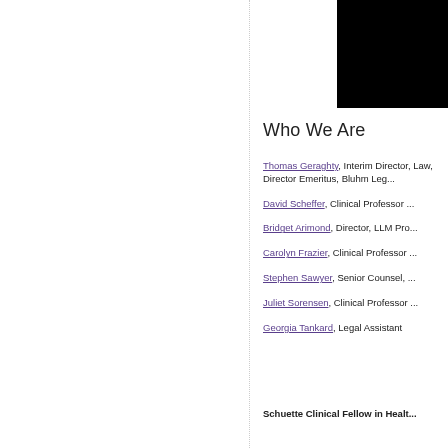[Figure (photo): Black rectangle image block in top right corner]
Who We Are
Thomas Geraghty, Interim Director, Law, Director Emeritus, Bluhm Leg...
David Scheffer, Clinical Professor ...
Bridget Arimond, Director, LM Pro...
Carolyn Frazier, Clinical Professor ...
Stephen Sawyer, Senior Counsel, ...
Juliet Sorensen, Clinical Professor ...
Georgia Tankard, Legal Assistant
Schuette Clinical Fellow in Healt...